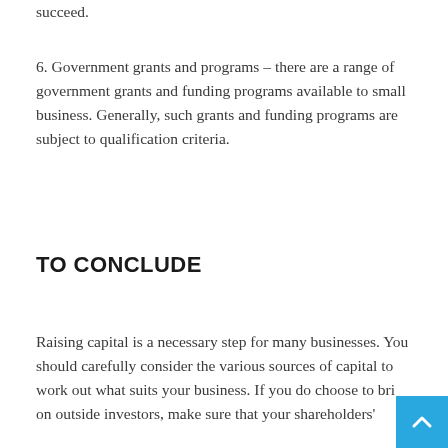succeed.
6. Government grants and programs – there are a range of government grants and funding programs available to small business. Generally, such grants and funding programs are subject to qualification criteria.
TO CONCLUDE
Raising capital is a necessary step for many businesses. You should carefully consider the various sources of capital to work out what suits your business. If you do choose to bri on outside investors, make sure that your shareholders'